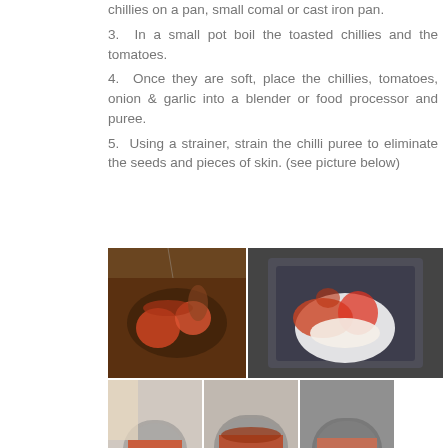chillies on a pan, small comal or cast iron pan.
3. In a small pot boil the toasted chillies and the tomatoes.
4. Once they are soft, place the chillies, tomatoes, onion & garlic into a blender or food processor and puree.
5. Using a strainer, strain the chilli puree to eliminate the seeds and pieces of skin. (see picture below)
[Figure (photo): A 2x3 grid of cooking process photos showing: top-left: a dark pan with tomatoes and toasted chillies being boiled; top-right: a blender/food processor container with chillies, tomatoes, onion and garlic; bottom-left, bottom-middle, bottom-right: three sequential photos of straining chilli puree through a strainer over a pot, showing the process of eliminating seeds and skin.]